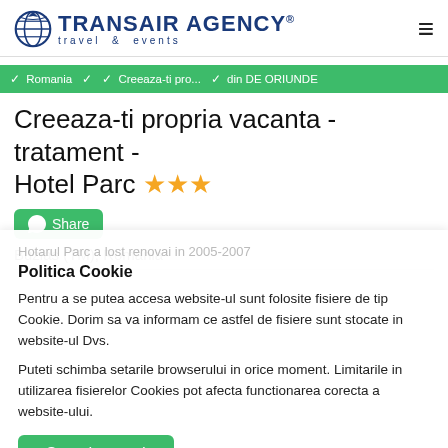TRANSAIR AGENCY® travel & events
✓ Romania  ✓  ✓ Creeaza-ti pro...  ✓ din DE ORIUNDE
Creeaza-ti propria vacanta - tratament - Hotel Parc ★★★
Share
Buzias (TM), Romania
Politica Cookie
Pentru a se putea accesa website-ul sunt folosite fisiere de tip Cookie. Dorim sa va informam ce astfel de fisiere sunt stocate in website-ul Dvs.
Puteti schimba setarile browserului in orice moment. Limitarile in utilizarea fisierelor Cookies pot afecta functionarea corecta a website-ului.
Sunt de acord